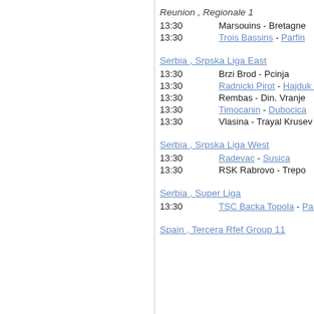Reunion , Regionale 1
13:30   Marsouins - Bretagne
13:30   Trois Bassins - Parfin
Serbia , Srpska Liga East
13:30   Brzi Brod - Pcinja
13:30   Radnicki Pirot - Hajduk V
13:30   Rembas - Din. Vranje
13:30   Timocanin - Dubocica
13:30   Vlasina - Trayal Krusev
Serbia , Srpska Liga West
13:30   Radevac - Susica
13:30   RSK Rabrovo - Trepo
Serbia , Super Liga
13:30   TSC Backa Topola - Par
Spain , Tercera Rfef Group 11